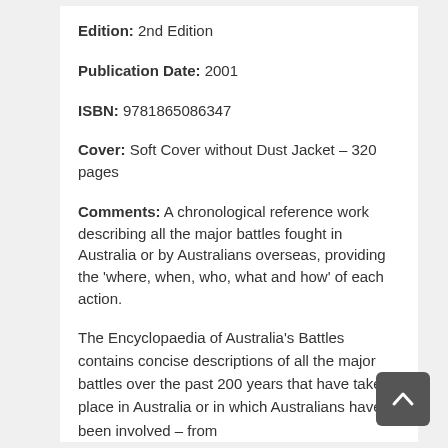Edition: 2nd Edition
Publication Date: 2001
ISBN: 9781865086347
Cover: Soft Cover without Dust Jacket – 320 pages
Comments: A chronological reference work describing all the major battles fought in Australia or by Australians overseas, providing the 'where, when, who, what and how' of each action.
The Encyclopaedia of Australia's Battles contains concise descriptions of all the major battles over the past 200 years that have taken place in Australia or in which Australians have been involved – from